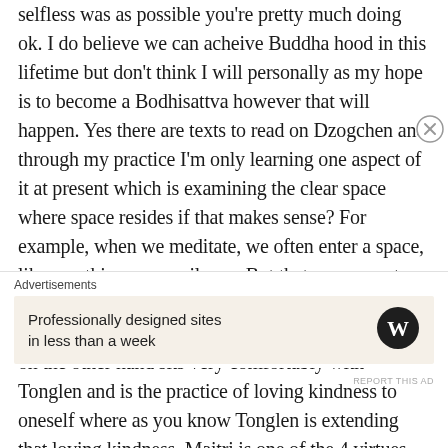selfless was as possible you're pretty much doing ok. I do believe we can acheive Buddha hood in this lifetime but don't think I will personally as my hope is to become a Bodhisattva however that will happen. Yes there are texts to read on Dzogchen and through my practice I'm only learning one aspect of it at present which is examining the clear space where space resides if that makes sense? For example, when we meditate, we often enter a space, like a nothingness, a silence. But that space must exist somewhere in its own space and that's what I'm examining right now with Dzogchen practice. Maitri on the other hand sits very comfortably with Tonglen and is the practice of loving kindness to oneself where as you know Tonglen is extending that loving kindness. Maitri is one of the 4 virtues
Advertisements
Professionally designed sites in less than a week